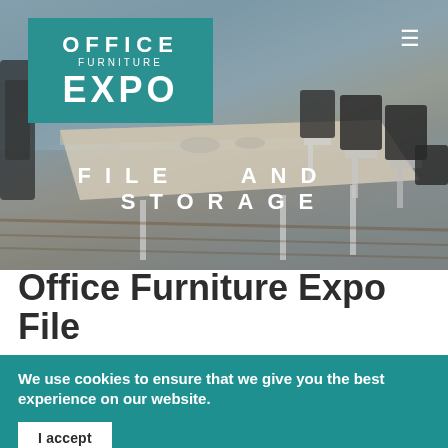[Figure (photo): Hero banner showing an office conference room with chairs and a table, overlaid with 'FILE AND STORAGE' text and the Office Furniture Expo logo in teal]
Office Furniture Expo File
We use cookies to ensure that we give you the best experience on our website.
I accept